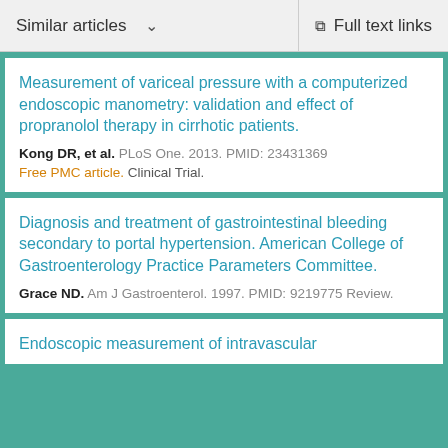Similar articles   Full text links
Measurement of variceal pressure with a computerized endoscopic manometry: validation and effect of propranolol therapy in cirrhotic patients.
Kong DR, et al. PLoS One. 2013. PMID: 23431369
Free PMC article. Clinical Trial.
Diagnosis and treatment of gastrointestinal bleeding secondary to portal hypertension. American College of Gastroenterology Practice Parameters Committee.
Grace ND. Am J Gastroenterol. 1997. PMID: 9219775 Review.
Endoscopic measurement of intravascular